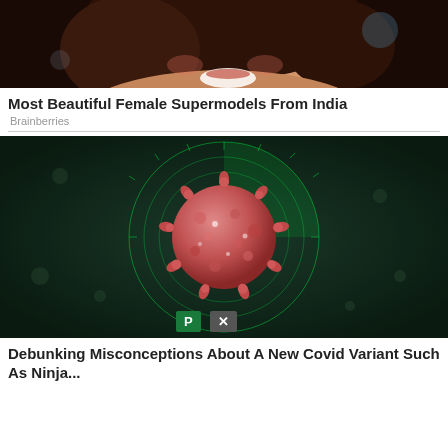[Figure (photo): Photo of a smiling woman with dark wavy hair, cropped to show face and shoulder, bright white smile]
Most Beautiful Female Supermodels From India
Brainberries
[Figure (photo): Digital illustration of a coronavirus particle (pink/red sphere with spikes) centered on a dark teal/green background with glowing green radar-like circular rings]
Debunking Misconceptions About A New Covid Variant Such As Ninja...